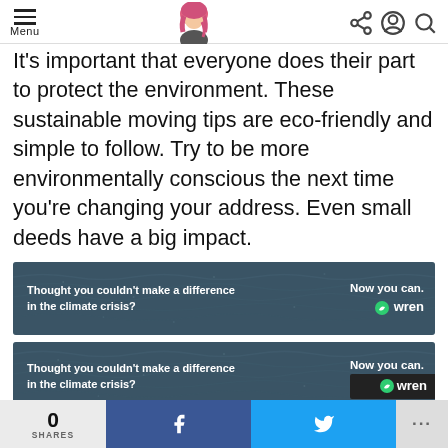Menu | [avatar] | share | account | search
It's important that everyone does their part to protect the environment. These sustainable moving tips are eco-friendly and simple to follow. Try to be more environmentally conscious the next time you're changing your address. Even small deeds have a big impact.
[Figure (photo): Advertisement banner with ocean/rainy background. Left text: 'Thought you couldn't make a difference in the climate crisis?' Right text: 'Now you can.' with Wren logo.]
[Figure (photo): Second identical advertisement banner with ocean/rainy background. Left text: 'Thought you couldn't make a difference in the climate crisis?' Right text: 'Now you can.' with Wren logo, partially obscured by notification panel.]
0 SHARES | f (Facebook share) | (Twitter share) | ...